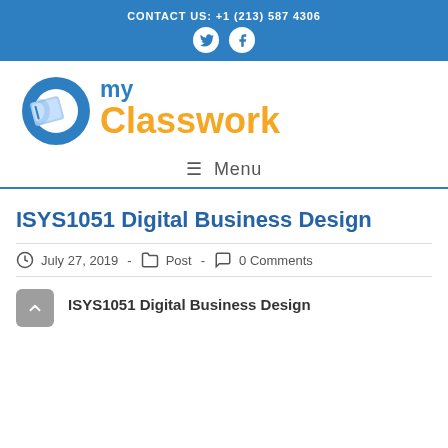CONTACT US: +1 (213) 587 4306
[Figure (logo): DoMyClasswork logo with blue DO ring icon and orange Classwork text]
≡  Menu
ISYS1051 Digital Business Design
July 27, 2019  -  Post  -  0 Comments
ISYS1051 Digital Business Design